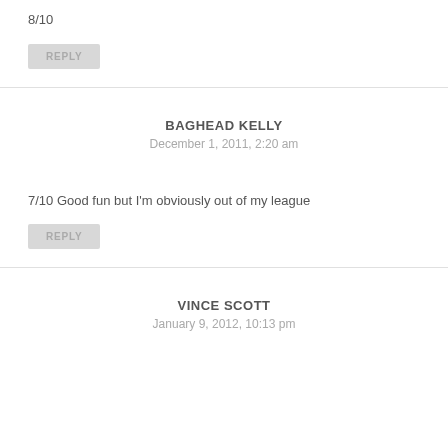8/10
REPLY
BAGHEAD KELLY
December 1, 2011, 2:20 am
7/10 Good fun but I'm obviously out of my league
REPLY
VINCE SCOTT
January 9, 2012, 10:13 pm